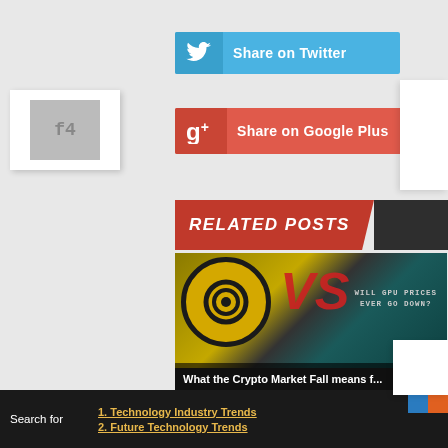[Figure (screenshot): Share on Twitter button with blue background and Twitter bird icon]
[Figure (screenshot): Share on Google Plus button with red background and G+ icon]
RELATED POSTS
[Figure (photo): Related post image showing crypto market vs gaming GPU topic. Steam logo vs Bitcoin with text 'What the Crypto Market Fall means f...' and 'WILL GPU PRICES EVER GO DOWN?']
1. Technology Industry Trends
2. Future Technology Trends